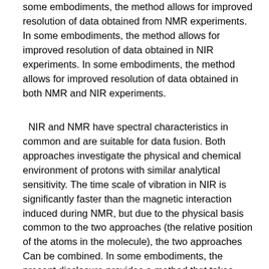some embodiments, the method allows for improved resolution of data obtained from NMR experiments. In some embodiments, the method allows for improved resolution of data obtained in NIR experiments. In some embodiments, the method allows for improved resolution of data obtained in both NMR and NIR experiments.
NIR and NMR have spectral characteristics in common and are suitable for data fusion. Both approaches investigate the physical and chemical environment of protons with similar analytical sensitivity. The time scale of vibration in NIR is significantly faster than the magnetic interaction induced during NMR, but due to the physical basis common to the two approaches (the relative position of the atoms in the molecule), the two approaches Can be combined. In some embodiments, the present disclosure provides a method that takes advantage of the relationship between proton NMR nuclear spin transitions and the electromagnetic spectrum dependent vibrational motion of molecules. When a molecule is irradiated at a particular vibrational frequency while simultaneously acquiring an NMR spectrum, either a chemical shift and / or a linewidth expansion of a particular bond associated with that vibrational frequency can be observed in the proton NMR